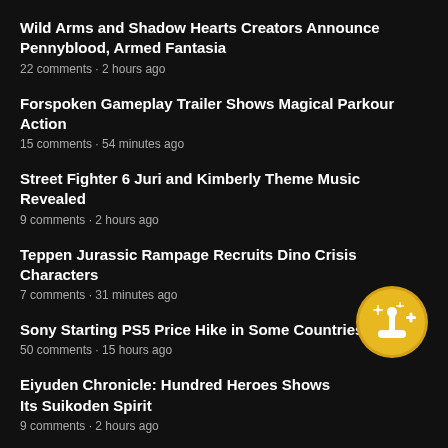Wild Arms and Shadow Hearts Creators Announce Pennyblood, Armed Fantasia
22 comments · 2 hours ago
Forspoken Gameplay Trailer Shows Magical Parkour Action
15 comments · 54 minutes ago
Street Fighter 6 Juri and Kimberly Theme Music Revealed
9 comments · 2 hours ago
Teppen Jurassic Rampage Recruits Dino Crisis Characters
7 comments · 31 minutes ago
Sony Starting PS5 Price Hike in Some Countries
50 comments · 15 hours ago
[Figure (illustration): Gold circular badge with a gaming joystick icon and sparkles]
Eiyuden Chronicle: Hundred Heroes Shows Its Suikoden Spirit
9 comments · 2 hours ago
More popular stories